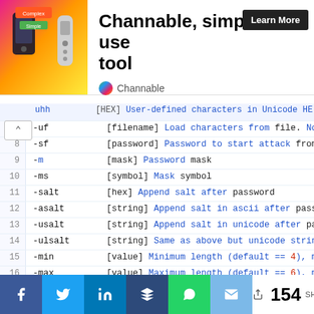[Figure (screenshot): Advertisement banner for Channable tool with colorful product image on left, bold title 'Channable, simple-to-use tool' and 'Learn More' button, with Channable logo below]
uhh   [HEX] User-defined characters in Unicode HE
7  -uf       [filename] Load characters from file. No
8  -sf       [password] Password to start attack from
9  -m        [mask] Password mask
10 -ms       [symbol] Mask symbol
11 -salt     [hex] Append salt after password
12 -asalt    [string] Append salt in ascii after password
13 -usalt    [string] Append salt in unicode after passwo
14 -ulsalt   [string] Same as above but unicode string fi
15 -min      [value] Minimum length (default == 4), must b
16 -max      [value] Maximum length (default == 6), must be
17 -h        [hash] Hash to attack (16 or 20 bytes in HE
18 -t        [type] Type of hash to attack
19 devicemask:[N] Bit mask for CPUs usage, bit 0 == first
[Figure (screenshot): Social share bar with Facebook, Twitter, LinkedIn, Buffer, WhatsApp, Email buttons and share count showing 154 SHARES]